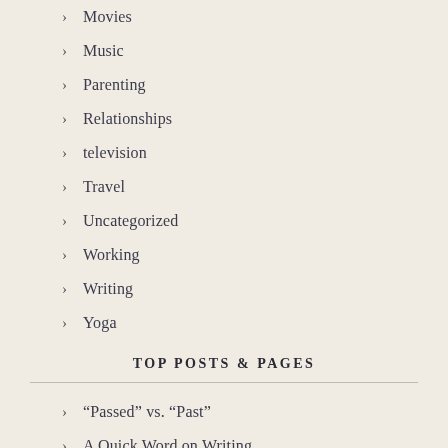Movies
Music
Parenting
Relationships
television
Travel
Uncategorized
Working
Writing
Yoga
TOP POSTS & PAGES
“Passed” vs. “Past”
A Quick Word on Writing . . .
“However”